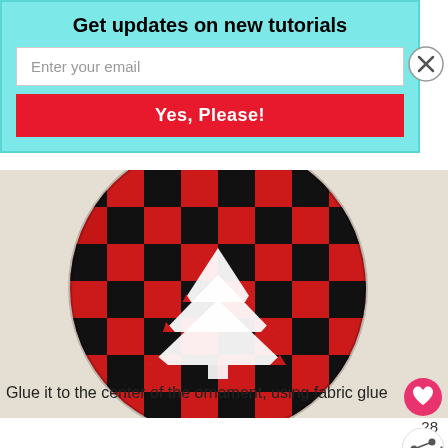Get updates on new tutorials
Enter your email
Yes, Please!
[Figure (photo): A round fabric ornament covered in red and black buffalo plaid fabric, with a white felt Christmas tree shape glued to the center, photographed on a light beige linen background.]
Glue it to the center of the ornament, using fabric glue